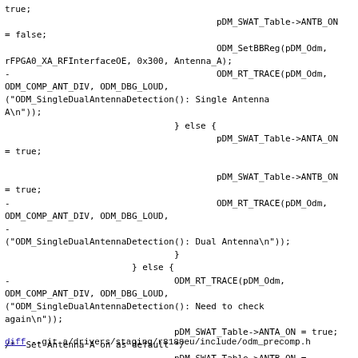true;
                                        pDM_SWAT_Table->ANTB_ON
= false;
                                        ODM_SetBBReg(pDM_Odm,
rFPGA0_XA_RFInterfaceOE, 0x300, Antenna_A);
-                                       ODM_RT_TRACE(pDM_Odm,
ODM_COMP_ANT_DIV, ODM_DBG_LOUD,
("ODM_SingleDualAntennaDetection(): Single Antenna
A\n"));
                                } else {
                                        pDM_SWAT_Table->ANTA_ON
= true;

                                        pDM_SWAT_Table->ANTB_ON
= true;
-                                       ODM_RT_TRACE(pDM_Odm,
ODM_COMP_ANT_DIV, ODM_DBG_LOUD,
-
("ODM_SingleDualAntennaDetection(): Dual Antenna\n"));
                                }
                        } else {
-                               ODM_RT_TRACE(pDM_Odm,
ODM_COMP_ANT_DIV, ODM_DBG_LOUD,
("ODM_SingleDualAntennaDetection(): Need to check
again\n"));
                                pDM_SWAT_Table->ANTA_ON = true;
/*  Set Antenna A on as default */
                                pDM_SWAT_Table->ANTB_ON =
false; /*  Set Antenna B off as default */
                                bResult = false;
diff --git
a/drivers/staging/r8188eu/include/odm_precomp.h